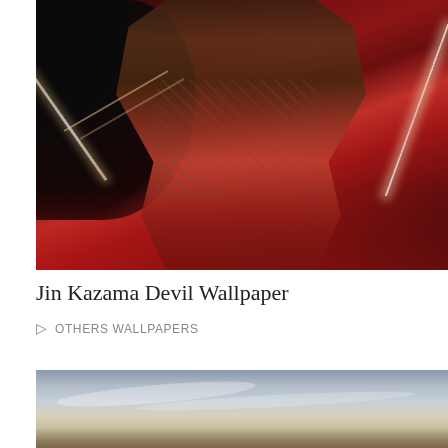[Figure (illustration): Jin Kazama Devil character from Tekken video game — muscular figure with dark demon wings, chains, red boxing gloves, dramatic lightning and red background]
Jin Kazama Devil Wallpaper
OTHERS WALLPAPERS
[Figure (photo): Landscape photo showing a dramatic sky with cloud streaks and ground/terrain visible at bottom — partially cropped]